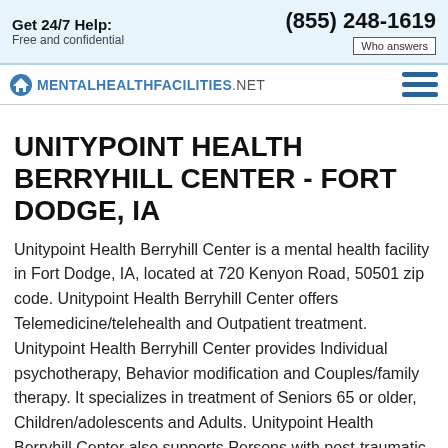Get 24/7 Help: Free and confidential | (855) 248-1619 | Who answers
MentalHealthFacilities.net
UNITYPOINT HEALTH BERRYHILL CENTER - FORT DODGE, IA
Unitypoint Health Berryhill Center is a mental health facility in Fort Dodge, IA, located at 720 Kenyon Road, 50501 zip code. Unitypoint Health Berryhill Center offers Telemedicine/telehealth and Outpatient treatment. Unitypoint Health Berryhill Center provides Individual psychotherapy, Behavior modification and Couples/family therapy. It specializes in treatment of Seniors 65 or older, Children/adolescents and Adults. Unitypoint Health Berryhill Center also supports Persons with post-traumatic stress disorder, Persons with co-occurring mental and substance